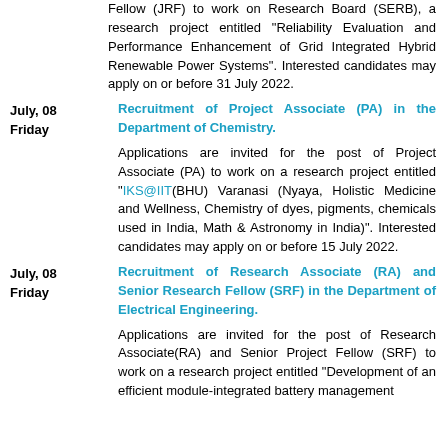Fellow (JRF) to work on Research Board (SERB), a research project entitled “Reliability Evaluation and Performance Enhancement of Grid Integrated Hybrid Renewable Power Systems”. Interested candidates may apply on or before 31 July 2022.
Recruitment of Project Associate (PA) in the Department of Chemistry.
Applications are invited for the post of Project Associate (PA) to work on a research project entitled “IKS@IIT(BHU) Varanasi (Nyaya, Holistic Medicine and Wellness, Chemistry of dyes, pigments, chemicals used in India, Math & Astronomy in India)”. Interested candidates may apply on or before 15 July 2022.
Recruitment of Research Associate (RA) and Senior Research Fellow (SRF) in the Department of Electrical Engineering.
Applications are invited for the post of Research Associate(RA) and Senior Project Fellow (SRF) to work on a research project entitled “Development of an efficient module-integrated battery management